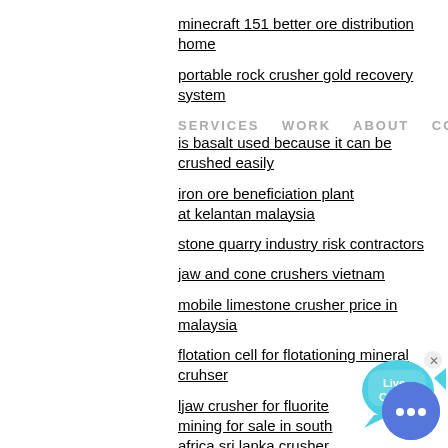minecraft 151 better ore distribution home
portable rock crusher gold recovery system
SERVICES   WORK   ABOUT   CONTACT
is basalt used because it can be crushed easily
iron ore beneficiation plant at kelantan malaysia
[Figure (other): Live Chat widget with fish/bubble icon and close button]
stone quarry industry risk contractors
jaw and cone crushers vietnam
COLOR:
mobile limestone crusher price in malaysia
[Figure (infographic): Color swatches panel showing Orange, Blue, Yellow]
flotation cell for flotationing mineral cruhser
ljaw crusher for fluorite mining for sale in south africa sri lanka crusher
[Figure (other): Round blue chat button with three dots]
coal tar distillation process report